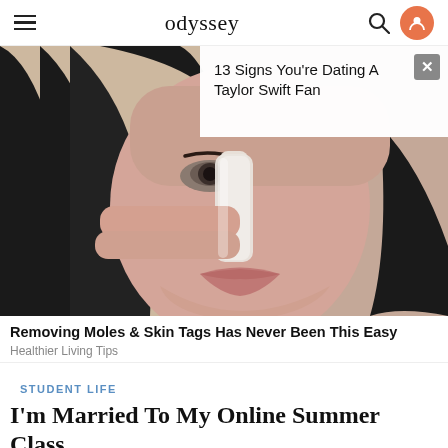odyssey
[Figure (photo): Close-up photo of a woman applying a white adhesive strip to her nose, with long dark hair and light skin, used as advertisement image]
13 Signs You're Dating A Taylor Swift Fan
Removing Moles & Skin Tags Has Never Been This Easy
Healthier Living Tips
STUDENT LIFE
I'm Married To My Online Summer Class
What to consider when thinking about taking a summer...